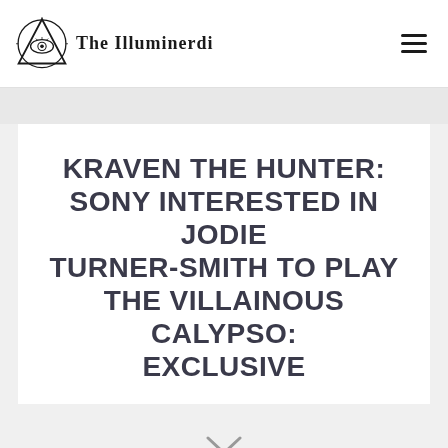The Illuminerdi
KRAVEN THE HUNTER: SONY INTERESTED IN JODIE TURNER-SMITH TO PLAY THE VILLAINOUS CALYPSO: EXCLUSIVE